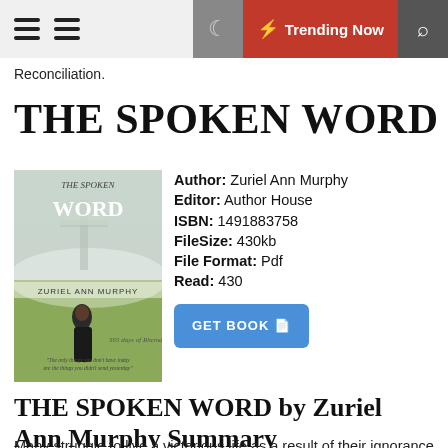Reconciliation. | Trending Now
Reconciliation.
THE SPOKEN WORD
[Figure (illustration): Book cover for 'The Spoken Word' by Zuriel Ann Murphy, showing a woman standing in a misty field, with text '365 days of Rhema']
Author: Zuriel Ann Murphy
Editor: Author House
ISBN: 1491883758
FileSize: 430kb
File Format: Pdf
Read: 430
GET BOOK
THE SPOKEN WORD by Zuriel Ann Murphy Summary
Many struggle to live a victorious life as a result of their ignorance